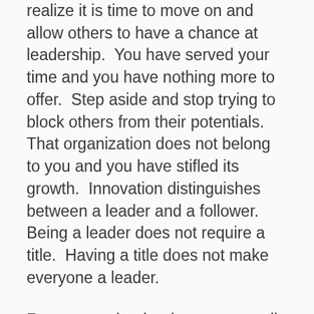realize it is time to move on and allow others to have a chance at leadership.  You have served your time and you have nothing more to offer.  Step aside and stop trying to block others from their potentials.  That organization does not belong to you and you have stifled its growth.  Innovation distinguishes between a leader and a follower.  Being a leader does not require a title.  Having a title does not make everyone a leader.
Respect each other because we all need each other.  Envy and stubbornness will get you nowhere.  How you treat others is a direct reflection of how you feel about yourself.  Support each other and stop bashing each other.  You are not meant to wear my armor because it will not fit you.  None of us are perfect and no organization is any better than the other.  Stop worrying about what others are doing